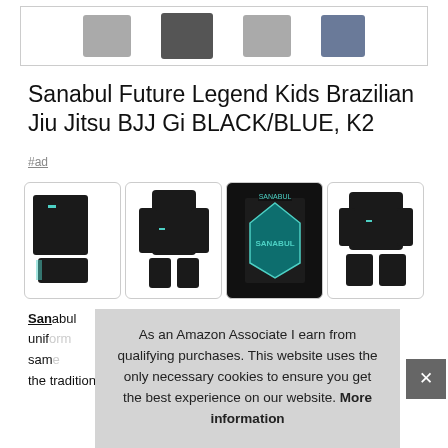[Figure (photo): Top strip showing multiple product color variants partially cropped]
Sanabul Future Legend Kids Brazilian Jiu Jitsu BJJ Gi BLACK/BLUE, K2
#ad
[Figure (photo): Four product thumbnail images of the Sanabul BJJ Gi in black with teal accents, showing different angles and detail shots]
Sanabul uniform sam the traditional heavier fabric of most other bjj gi's which kids
As an Amazon Associate I earn from qualifying purchases. This website uses the only necessary cookies to ensure you get the best experience on our website. More information